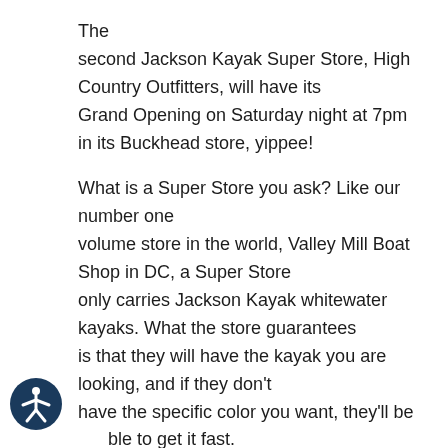The second Jackson Kayak Super Store, High Country Outfitters, will have its Grand Opening on Saturday night at 7pm in its Buckhead store, yippee!
What is a Super Store you ask? Like our number one volume store in the world, Valley Mill Boat Shop in DC, a Super Store only carries Jackson Kayak whitewater kayaks. What the store guarantees is that they will have the kayak you are looking, and if they don't have the specific color you want, they'll be able to get it fast.
[Figure (illustration): Accessibility icon: a dark navy circle with a white stick figure with arms outstretched, representing accessibility/wheelchair user symbol]